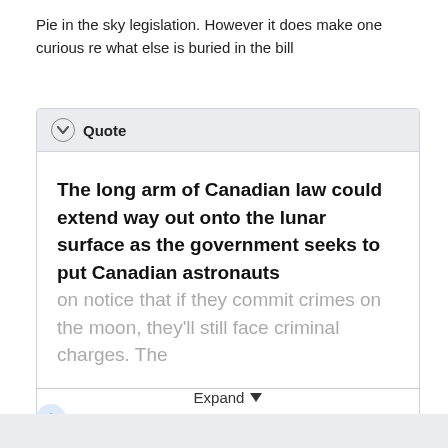Pie in the sky legislation.  However it does make one curious re what else is buried in the bill
[Figure (screenshot): A collapsible quote block with a header row showing a down-chevron icon and bold label 'Quote', containing large bold and faded text: 'The long arm of Canadian law could extend way out onto the lunar surface as the government seeks to put Canadian astronauts on notice that if they commit crimes on the moon, they'll still face criminal charges. The' followed by an 'Expand' button with a dropdown arrow.]
Quote